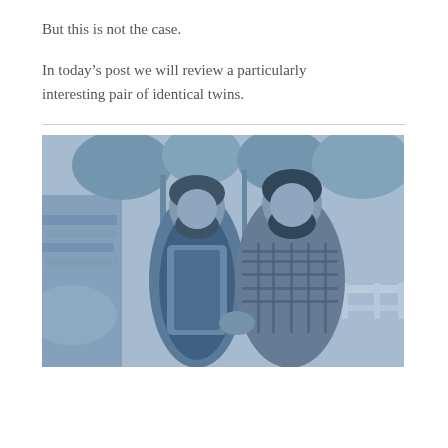But this is not the case.
In today’s post we will review a particularly interesting pair of identical twins.
[Figure (photo): Black and white photo with blue tint of two bearded men standing outdoors near trees and a fence. One man wears a vest/jacket, the other wears a plaid flannel shirt. They appear to be identical twins.]